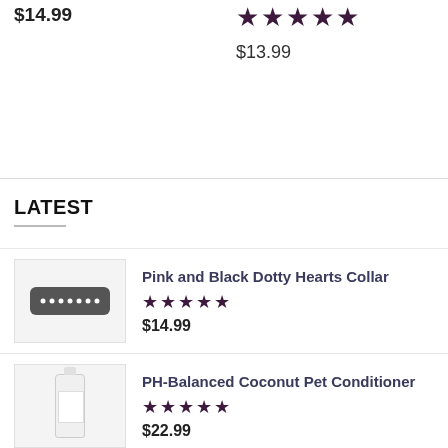$14.99
[Figure (other): Five filled dark purple stars rating]
$13.99
LATEST
[Figure (photo): Pink and Black Dotty Hearts Collar product image]
Pink and Black Dotty Hearts Collar
[Figure (other): Five filled dark purple stars rating]
$14.99
[Figure (photo): PH-Balanced Coconut Pet Conditioner bottle product image]
PH-Balanced Coconut Pet Conditioner
[Figure (other): Five filled dark purple stars rating]
$22.99
[Figure (photo): Petveda Soothing Butter Paw Balm product image placeholder]
Petveda Soothing Butter Paw Balm